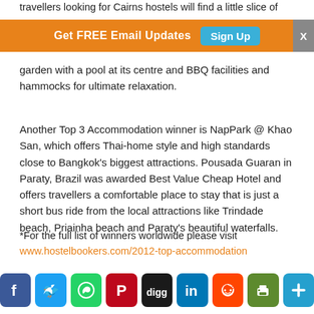travellers looking for Cairns hostels will find a little slice of
garden with a pool at its centre and BBQ facilities and hammocks for ultimate relaxation.
Another Top 3 Accommodation winner is NapPark @ Khao San, which offers Thai-home style and high standards close to Bangkok's biggest attractions. Pousada Guaran in Paraty, Brazil was awarded Best Value Cheap Hotel and offers travellers a comfortable place to stay that is just a short bus ride from the local attractions like Trindade beach, Priainha beach and Paraty's beautiful waterfalls.
*For the full list of winners worldwide please visit www.hostelbookers.com/2012-top-accommodation
[Figure (infographic): Social sharing icons: Facebook, Twitter, WhatsApp, Pinterest, Digg, LinkedIn, Reddit, Print, Plus]